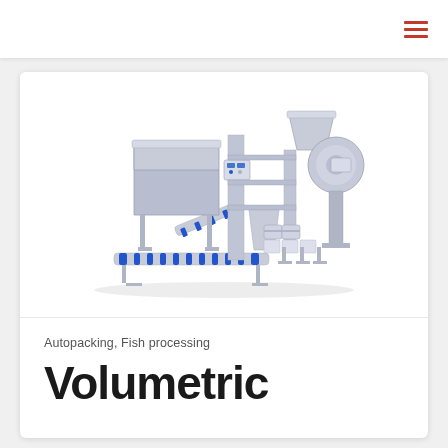[Figure (illustration): 3D rendering of an industrial volumetric autopacking fish processing machine system with conveyors, hoppers, and packaging units in grey and blue colors]
Autopacking, Fish processing
Volumetric